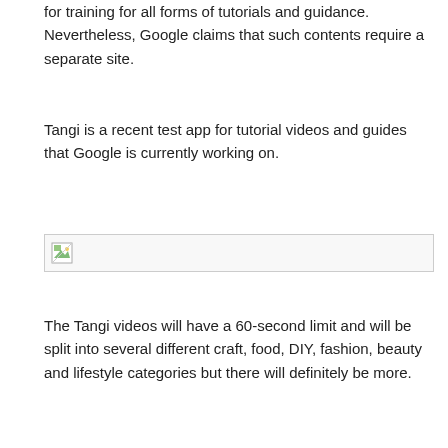for training for all forms of tutorials and guidance. Nevertheless, Google claims that such contents require a separate site.
Tangi is a recent test app for tutorial videos and guides that Google is currently working on.
[Figure (other): Broken image placeholder with a small image icon and a horizontal line border]
The Tangi videos will have a 60-second limit and will be split into several different craft, food, DIY, fashion, beauty and lifestyle categories but there will definitely be more.